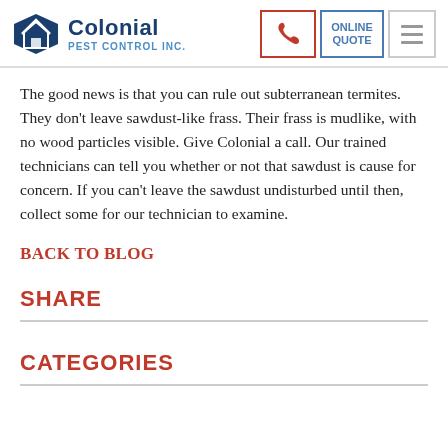Colonial Pest Control Inc.
The good news is that you can rule out subterranean termites. They don't leave sawdust-like frass. Their frass is mudlike, with no wood particles visible. Give Colonial a call. Our trained technicians can tell you whether or not that sawdust is cause for concern. If you can't leave the sawdust undisturbed until then, collect some for our technician to examine.
BACK TO BLOG
SHARE
CATEGORIES